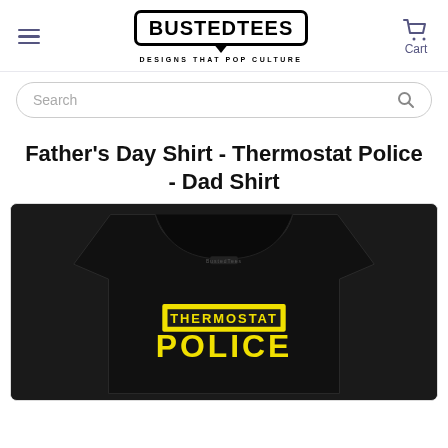BustedTees - DESIGNS THAT POP CULTURE
Search
Father's Day Shirt - Thermostat Police - Dad Shirt
[Figure (photo): Black t-shirt with yellow text reading THERMOSTAT POLICE in bold block letters, with a yellow border box around THERMOSTAT]